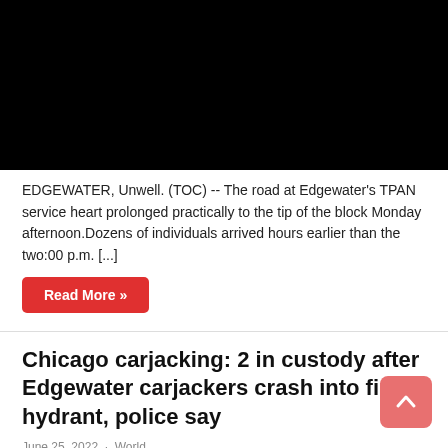[Figure (photo): Black rectangle representing a video or image placeholder at the top of the article.]
EDGEWATER, Unwell. (TOC) -- The road at Edgewater's TPAN service heart prolonged practically to the tip of the block Monday afternoon.Dozens of individuals arrived hours earlier than the two:00 p.m. [...]
Read More »
Chicago carjacking: 2 in custody after Edgewater carjackers crash into fire hydrant, police say
June 25, 2022 · World